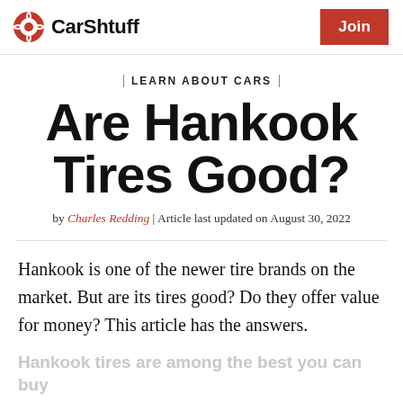CarShtuff | Join
LEARN ABOUT CARS
Are Hankook Tires Good?
by Charles Redding | Article last updated on August 30, 2022
Hankook is one of the newer tire brands on the market. But are its tires good? Do they offer value for money? This article has the answers.
Hankook tires are among the best you can buy